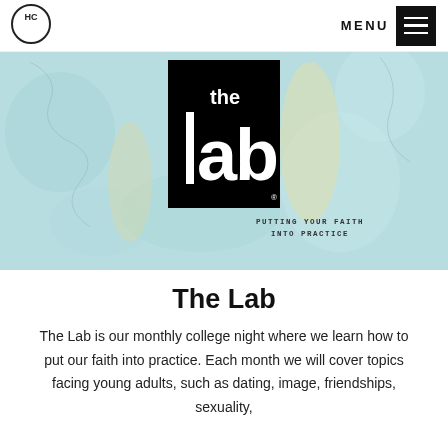[Figure (logo): HC circular logo in nav bar]
MENU
[Figure (illustration): Hero banner with light blue textured background, 'the lab' logo in black square, subtitle 'PUTTING YOUR FAITH INTO PRACTICE']
The Lab
The Lab is our monthly college night where we learn how to put our faith into practice. Each month we will cover topics facing young adults, such as dating, image, friendships, sexuality,